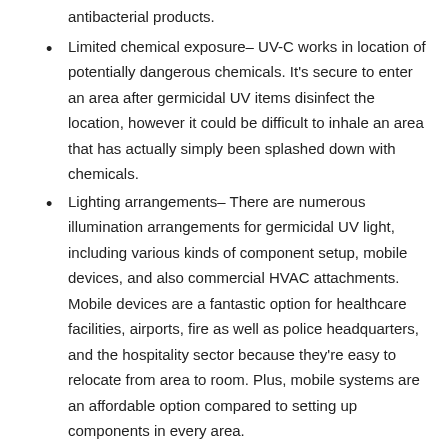antibacterial products.
Limited chemical exposure– UV-C works in location of potentially dangerous chemicals. It's secure to enter an area after germicidal UV items disinfect the location, however it could be difficult to inhale an area that has actually simply been splashed down with chemicals.
Lighting arrangements– There are numerous illumination arrangements for germicidal UV light, including various kinds of component setup, mobile devices, and also commercial HVAC attachments. Mobile devices are a fantastic option for healthcare facilities, airports, fire as well as police headquarters, and the hospitality sector because they're easy to relocate from area to room. Plus, mobile systems are an affordable option compared to setting up components in every area.